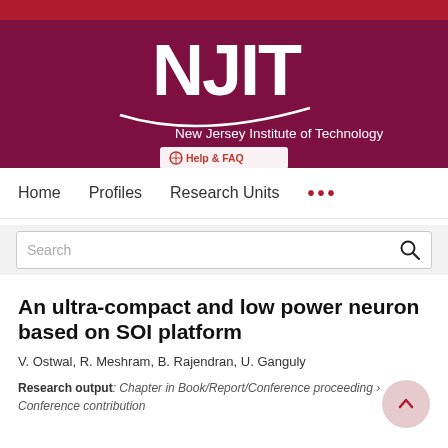[Figure (logo): NJIT - New Jersey Institute of Technology logo with red and dark maroon banner, white NJIT text and swoosh graphic]
Help & FAQ  Home  Profiles  Research Units ...
Search
An ultra-compact and low power neuron based on SOI platform
V. Ostwal, R. Meshram, B. Rajendran, U. Ganguly
Research output: Chapter in Book/Report/Conference proceeding › Conference contribution